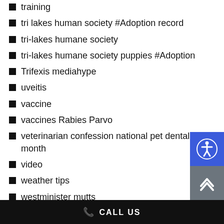training
tri lakes human society #Adoption record
tri-lakes humane society
tri-lakes humane society puppies #Adoption
Trifexis mediahype
uveitis
vaccine
vaccines Rabies Parvo
veterinarian confession national pet dental health month
video
weather tips
westminister mutts
CALL US